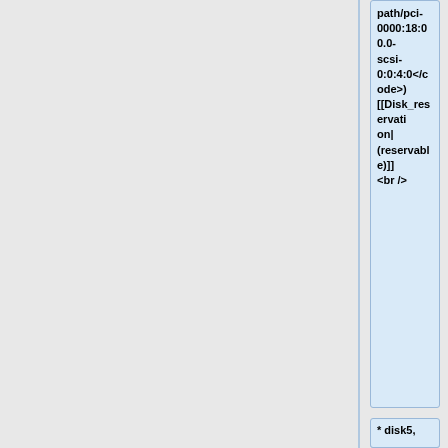path/pci-0000:18:00.0-scsi-0:0:4:0</code>) [[Disk_reservation|(reservable)]] <br />
* disk5, 4.0&nbsp;TB HDD SAS Seagate ST4000NM0295 (dev: <code class="file">/dev/disk5</code> [[Disk_reservation|*]], by-path: <code class="file">/dev/disk/by-path/pci-